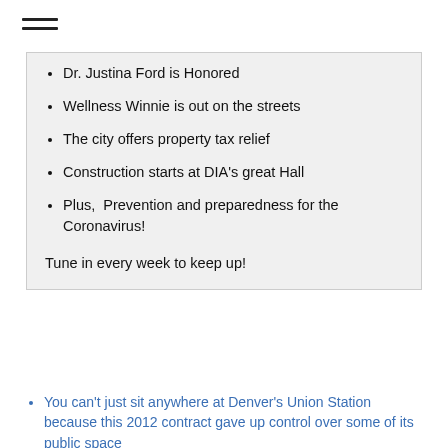Dr. Justina Ford is Honored
Wellness Winnie is out on the streets
The city offers property tax relief
Construction starts at DIA's great Hall
Plus,  Prevention and preparedness for the Coronavirus!
Tune in every week to keep up!
You can’t just sit anywhere at Denver’s Union Station because this 2012 contract gave up control over some of its public space
Landlord for first Quiznos points to property taxes